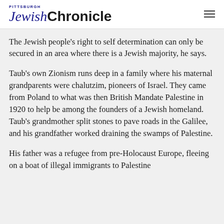Pittsburgh Jewish Chronicle
The Jewish people's right to self determination can only be secured in an area where there is a Jewish majority, he says.
Taub's own Zionism runs deep in a family where his maternal grandparents were chalutzim, pioneers of Israel. They came from Poland to what was then British Mandate Palestine in 1920 to help be among the founders of a Jewish homeland. Taub's grandmother split stones to pave roads in the Galilee, and his grandfather worked draining the swamps of Palestine.
His father was a refugee from pre-Holocaust Europe, fleeing on a boat of illegal immigrants to Palestine